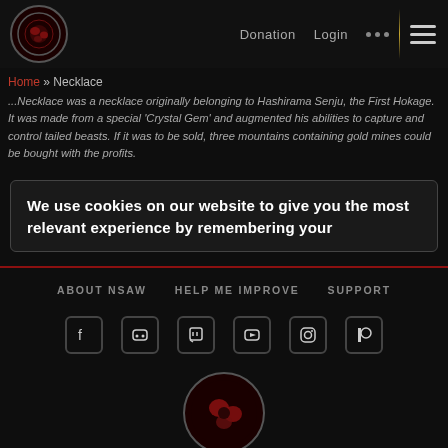[Figure (logo): Circular logo with red cloud/Akatsuki-style design on dark background]
Donation  Login  ●●●
[Figure (illustration): Hamburger menu icon (three horizontal lines)]
Home » Necklace
...Necklace was a necklace originally belonging to Hashirama Senju, the First Hokage. It was made from a special 'Crystal Gem' and augmented his abilities to capture and control tailed beasts. If it was to be sold, three mountains containing gold mines could be bought with the profits.
We use cookies on our website to give you the most relevant experience by remembering your
ABOUT NSAW   HELP ME IMPROVE   SUPPORT
[Figure (illustration): Social media icons row: Facebook, Discord, Twitch, YouTube, Instagram, Patreon]
[Figure (logo): Circular footer logo with red design on dark background, partially visible]